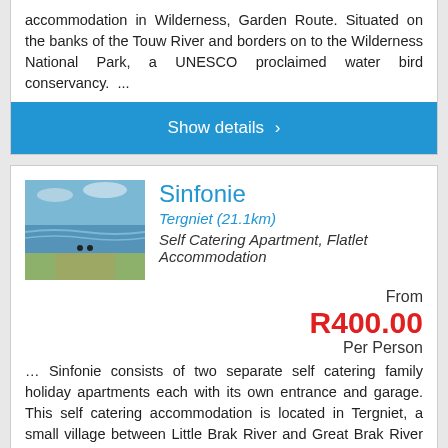accommodation in Wilderness, Garden Route. Situated on the banks of the Touw River and borders on to the Wilderness National Park, a UNESCO proclaimed water bird conservancy. ...
Show details ›
Sinfonie
Tergniet (21.1km)
Self Catering Apartment, Flatlet Accommodation
From R400.00 Per Person
… Sinfonie consists of two separate self catering family holiday apartments each with its own entrance and garage. This self catering accommodation is located in Tergniet, a small village between Little Brak River and Great Brak River ...
Show details ›